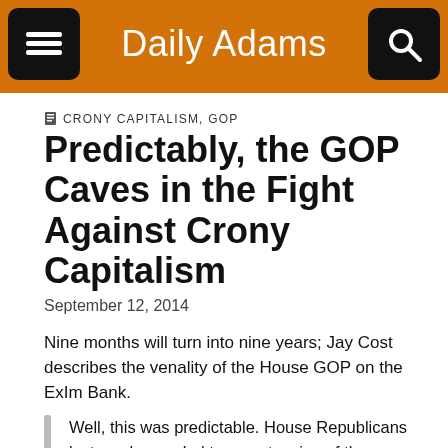Daily Adams
CRONY CAPITALISM, GOP
Predictably, the GOP Caves in the Fight Against Crony Capitalism
September 12, 2014
Nine months will turn into nine years; Jay Cost describes the venality of the House GOP on the ExIm Bank.
Well, this was predictable. House Republicans last week acceded to an extension of the Export-Import Bank for at least the next nine months. The Export-Import Bank is far from the worst example of government-business cronyism. I just completed a history of American political corruption and actually had to leave Ex-Im on the cutting room floor. Its cronies are pikers